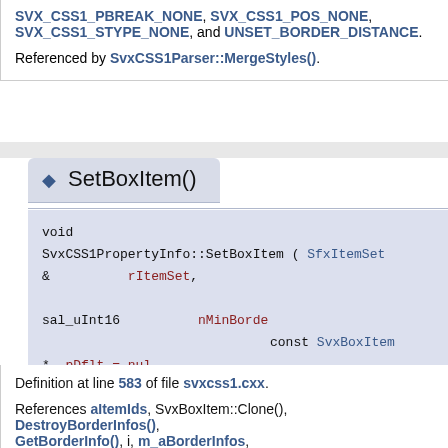SVX_CSS1_PBREAK_NONE, SVX_CSS1_POS_NONE, SVX_CSS1_STYPE_NONE, and UNSET_BORDER_DISTANCE.
Referenced by SvxCSS1Parser::MergeStyles().
SetBoxItem()
void SvxCSS1PropertyInfo::SetBoxItem ( SfxItemSet & rItemSet, sal_uInt16 nMinBorde, const SvxBoxItem * pDflt = nul )
Definition at line 583 of file svxcss1.cxx.
References aItemIds, SvxBoxItem::Clone(), DestroyBorderInfos(), GetBorderInfo(), i, m_aBorderInfos, m_nBottomBorderDistance, m_nLeftBorderDistance, m_nRightBorderDistance, m_nTopBorderDistance, SfxItemSet::Put().